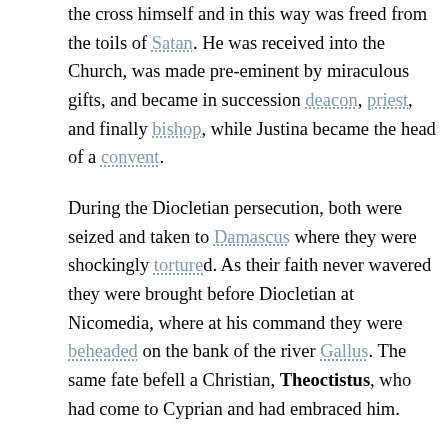the cross himself and in this way was freed from the toils of Satan. He was received into the Church, was made pre-eminent by miraculous gifts, and became in succession deacon, priest, and finally bishop, while Justina became the head of a convent.
During the Diocletian persecution, both were seized and taken to Damascus where they were shockingly tortured. As their faith never wavered they were brought before Diocletian at Nicomedia, where at his command they were beheaded on the bank of the river Gallus. The same fate befell a Christian, Theoctistus, who had come to Cyprian and had embraced him.
After the bodies of the saints had lain unburied for